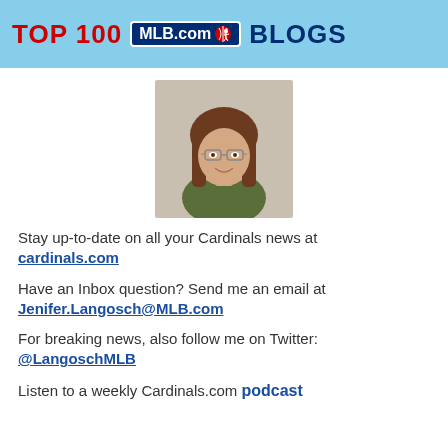[Figure (logo): Top 100 MLB.com Blogs banner on light blue background with red and navy text]
[Figure (photo): Headshot photo of a woman with long brown hair and glasses wearing a green shirt, smiling]
Stay up-to-date on all your Cardinals news at cardinals.com
Have an Inbox question? Send me an email at Jenifer.Langosch@MLB.com
For breaking news, also follow me on Twitter: @LangoschMLB
Listen to a weekly Cardinals.com podcast